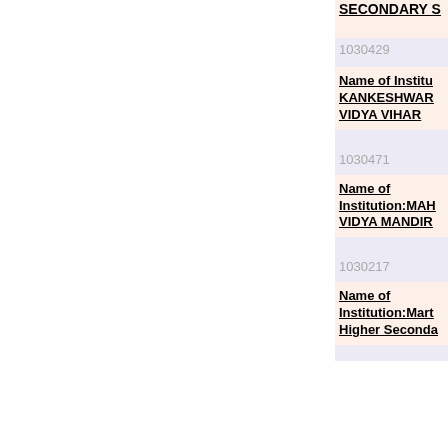SECONDARY S
1030429
Name of Institution: KANKESHWAR VIDYA VIHAR
1030471
Name of Institution:MAH VIDYA MANDIR
1030217
Name of Institution:Mart Higher Seconda